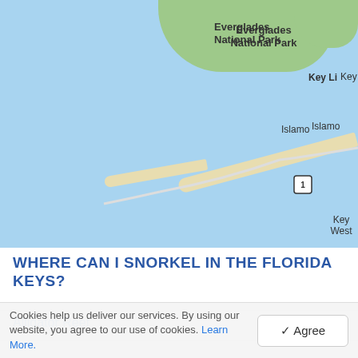[Figure (map): Map of the Florida Keys showing snorkeling/diving locations marked with red and white dive flags. Labels visible: Everglades National Park (top right), Key Largo (top right, partially cut off as 'Key Li'), Islamorada (right, partially cut off as 'Islamo'), Marathon, Big Pine Key, Key West. US Route 1 highway marker visible. Multiple red-and-white dive flags clustered around various locations along the Keys chain.]
WHERE CAN I SNORKEL IN THE FLORIDA KEYS?
Alligator Reef
★★★★★
Cookies help us deliver our services. By using our website, you agree to our use of cookies. Learn More.